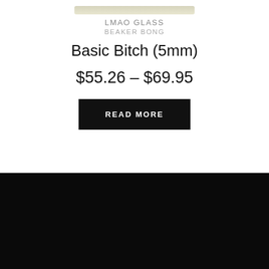[Figure (photo): Partial product image of a beaker bong at the top of the page, cropped]
LMAO GLASS
BEAKER BONG
Basic Bitch (5mm)
$55.26 – $69.95
READ MORE
BACK TO TOP